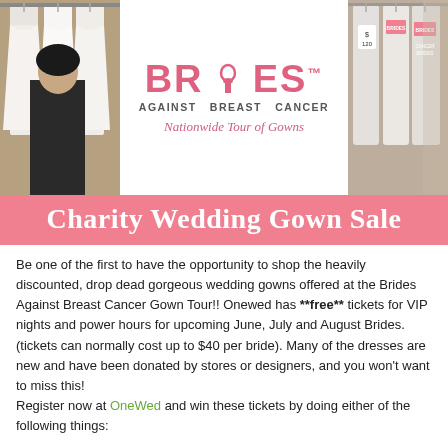[Figure (photo): Banner with two wedding dress photos on left and right, Brides Against Breast Cancer logo in center with 'Nationwide Tour of Gowns' tagline]
Charity Wedding Gown Sale
Be one of the first to have the opportunity to shop the heavily discounted, drop dead gorgeous wedding gowns offered at the Brides Against Breast Cancer Gown Tour!! Onewed has **free** tickets for VIP nights and power hours for upcoming June, July and August Brides.(tickets can normally cost up to $40 per bride). Many of the dresses are new and have been donated by stores or designers, and you won't want to miss this!
Register now at OneWed and win these tickets by doing either of the following things:
1) Leave a message on the BABC Facebook Page saying: I want OneWed to send me to the BABC event in (name of city), make sure to include a link to this story (you can use this tiny link to make it easier: http://bit.ly/8YpFJh). Once you've done that,